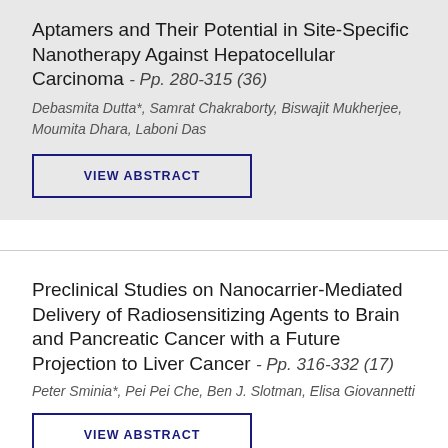Aptamers and Their Potential in Site-Specific Nanotherapy Against Hepatocellular Carcinoma - Pp. 280-315 (36)
Debasmita Dutta*, Samrat Chakraborty, Biswajit Mukherjee, Moumita Dhara, Laboni Das
VIEW ABSTRACT
Preclinical Studies on Nanocarrier-Mediated Delivery of Radiosensitizing Agents to Brain and Pancreatic Cancer with a Future Projection to Liver Cancer - Pp. 316-332 (17)
Peter Sminia*, Pei Pei Che, Ben J. Slotman, Elisa Giovannetti
VIEW ABSTRACT